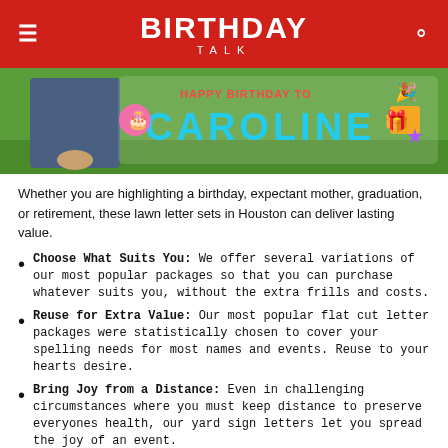BIRTHDAY TALK
[Figure (photo): Outdoor birthday lawn sign display showing colorful letters spelling 'CAROLINE' with birthday decorations including cake, gift, party hat, and stars on green grass. A person stands to the left.]
Whether you are highlighting a birthday, expectant mother, graduation, or retirement, these lawn letter sets in Houston can deliver lasting value.
Choose What Suits You: We offer several variations of our most popular packages so that you can purchase whatever suits you, without the extra frills and costs.
Reuse for Extra Value: Our most popular flat cut letter packages were statistically chosen to cover your spelling needs for most names and events. Reuse to your hearts desire.
Bring Joy from a Distance: Even in challenging circumstances where you must keep distance to preserve everyones health, our yard sign letters let you spread the joy of an event.
How a Yard Sign Newsletter...